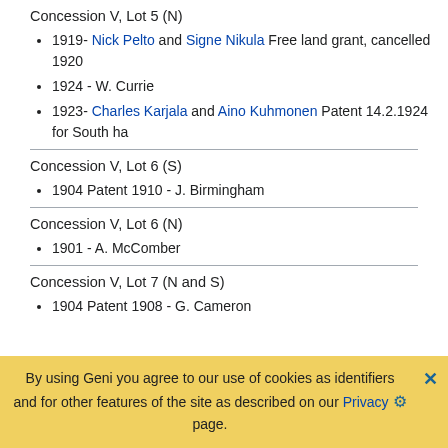Concession V, Lot 5 (N)
1919- Nick Pelto and Signe Nikula Free land grant, cancelled 1920
1924 - W. Currie
1923- Charles Karjala and Aino Kuhmonen Patent 14.2.1924 for South ha
Concession V, Lot 6 (S)
1904 Patent 1910 - J. Birmingham
Concession V, Lot 6 (N)
1901 - A. McComber
Concession V, Lot 7 (N and S)
1904 Patent 1908 - G. Cameron
By using Geni you agree to our use of cookies as identifiers and for other features of the site as described on our Privacy page.